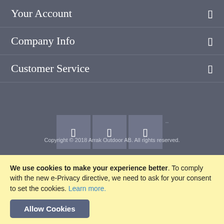Your Account
Company Info
Customer Service
[Figure (other): Three social media icon buttons in gray squares with a small ellipsis dots indicator]
Copyright © 2018 Arrak Outdoor AB. All rights reserved.
We use cookies to make your experience better. To comply with the new e-Privacy directive, we need to ask for your consent to set the cookies. Learn more.